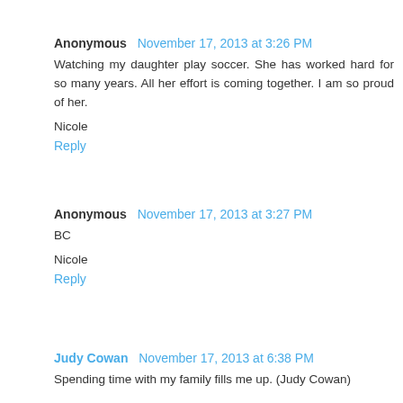Anonymous November 17, 2013 at 3:26 PM
Watching my daughter play soccer. She has worked hard for so many years. All her effort is coming together. I am so proud of her.
Nicole
Reply
Anonymous November 17, 2013 at 3:27 PM
BC
Nicole
Reply
Judy Cowan November 17, 2013 at 6:38 PM
Spending time with my family fills me up. (Judy Cowan)